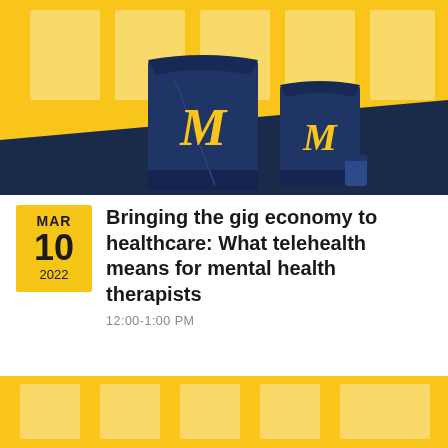[Figure (illustration): University of Michigan branded lunch bags with block M logo on a yellow and navy blue illustrated background representing a virtual lunch event]
MAR 10 2022
Bringing the gig economy to healthcare: What telehealth means for mental health therapists
12:00-1:00 PM
[Figure (illustration): Partial view of the same University of Michigan branded illustration with yellow background and window grid pattern, bottom crop]